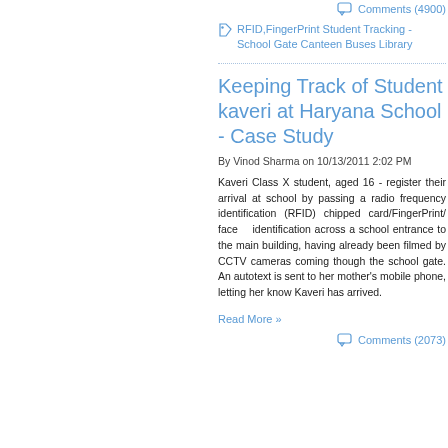Comments (4900)
RFID,FingerPrint Student Tracking - School Gate Canteen Buses Library
Keeping Track of Student kaveri at Haryana School - Case Study
By Vinod Sharma on 10/13/2011 2:02 PM
Kaveri Class X student, aged 16 - register their arrival at school by passing a radio frequency identification (RFID) chipped card/FingerPrint/ face identification across a school entrance to the main building, having already been filmed by CCTV cameras coming though the school gate. An autotext is sent to her mother's mobile phone, letting her know Kaveri has arrived.
Read More »
Comments (2073)